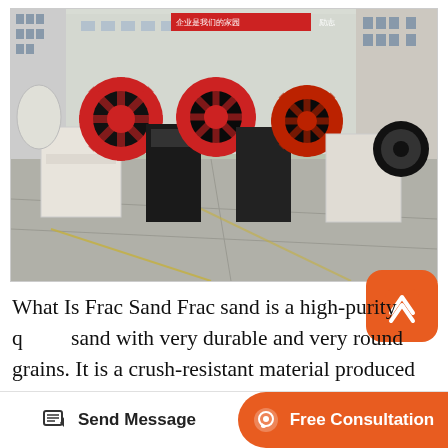[Figure (photo): Outdoor factory yard showing multiple industrial sand-washing or crushing machines with red decorative elements and black components, white hoppers, in front of a large industrial building with Chinese text banner. Machines are arranged in a row on a concrete yard.]
What Is Frac Sand Frac sand is a high-purity quartz sand with very durable and very round grains. It is a crush-resistant material produced for use by the petroleum industry. It is used in the hydraulic fracturing process (known as fracking ) to produce petroleum fluids, such as oil, natural gas, and natural gas liquids from rock units that lock...
Send Message   Free Consultation